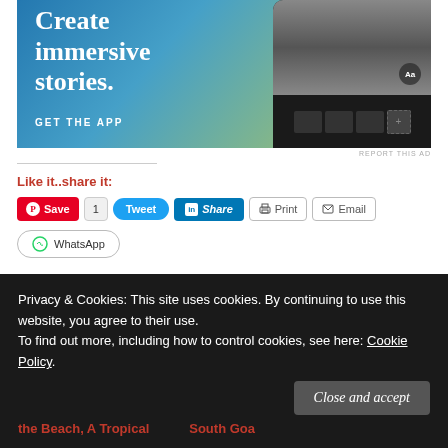[Figure (screenshot): App advertisement banner with text 'Create immersive stories.' and 'GET THE APP' over a blue-green gradient background with a phone mockup showing a waterfall/outdoors photo editing interface]
REPORT THIS AD
Like it..share it:
[Figure (screenshot): Social sharing buttons row: Pinterest Save button (red), count of 1, Tweet button (blue rounded), LinkedIn Share button (blue), Print button (outline), Email button (outline), and WhatsApp button (outline rounded)]
Like this:
Privacy & Cookies: This site uses cookies. By continuing to use this website, you agree to their use.
To find out more, including how to control cookies, see here: Cookie Policy
Close and accept
the Beach, A Tropical
South Goa